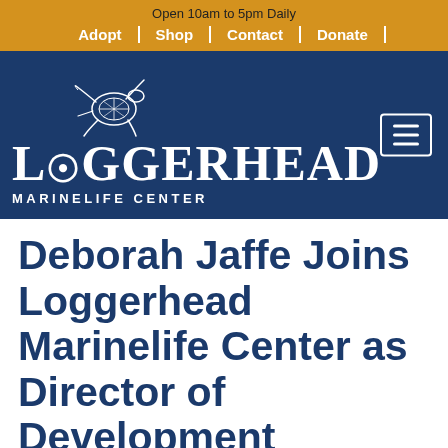Open 10am to 5pm Daily
Adopt | Shop | Contact | Donate
[Figure (logo): Loggerhead Marinelife Center logo with sea turtle graphic above the text 'LOGGERHEAD MARINELIFE CENTER' on a navy blue background]
Deborah Jaffe Joins Loggerhead Marinelife Center as Director of Development